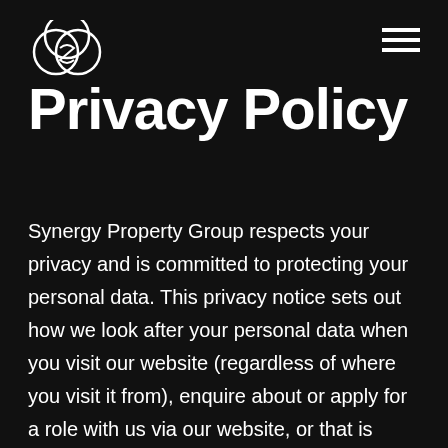[Figure (logo): Synergy Property Group logo — circular swirling shapes in white on black background]
Privacy Policy
Synergy Property Group respects your privacy and is committed to protecting your personal data. This privacy notice sets out how we look after your personal data when you visit our website (regardless of where you visit it from), enquire about or apply for a role with us via our website, or that is collected by us in other circumstances (these circumstances are detailed further below), and tells you about your privacy rights and how the law protects you. Please